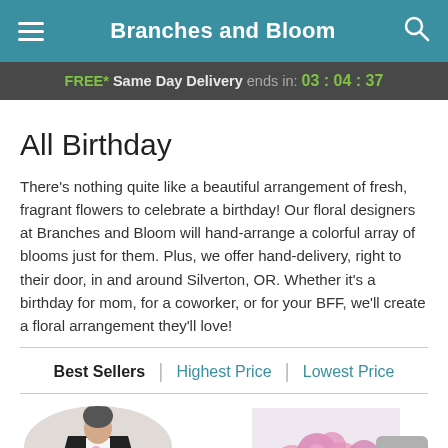Branches and Bloom
FREE* Same Day Delivery ends in: 03:04:37
All Birthday
There's nothing quite like a beautiful arrangement of fresh, fragrant flowers to celebrate a birthday! Our floral designers at Branches and Bloom will hand-arrange a colorful array of blooms just for them. Plus, we offer hand-delivery, right to their door, in and around Silverton, OR. Whether it's a birthday for mom, for a coworker, or for your BFF, we'll create a floral arrangement they'll love!
Best Sellers | Highest Price | Lowest Price
[Figure (photo): Circular cropped photo of a person in formal black attire holding a pink flower]
[Figure (photo): Photo of pink flower arrangement (chrysanthemums)]